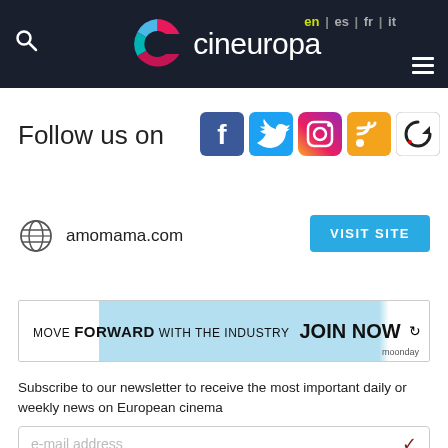cineuropa — en | es | fr | it
Follow us on
[Figure (logo): Social media icons: Facebook, Twitter, Instagram, RSS, and a refresh/reset icon]
amomama.com
VISIT SITE
[Figure (infographic): Banner ad: MOVE FORWARD WITH THE INDUSTRY JOIN NOW with moonday logo]
Subscribe to our newsletter to receive the most important daily or weekly news on European cinema
e-mail address